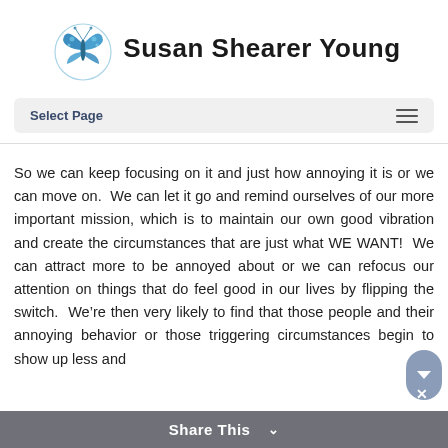[Figure (logo): Susan Shearer Young logo with blue butterfly on left and brand name text on right]
Select Page
So we can keep focusing on it and just how annoying it is or we can move on.  We can let it go and remind ourselves of our more important mission, which is to maintain our own good vibration and create the circumstances that are just what WE WANT!  We can attract more to be annoyed about or we can refocus our attention on things that do feel good in our lives by flipping the switch.  We’re then very likely to find that those people and their annoying behavior or those triggering circumstances begin to show up less and
Share This